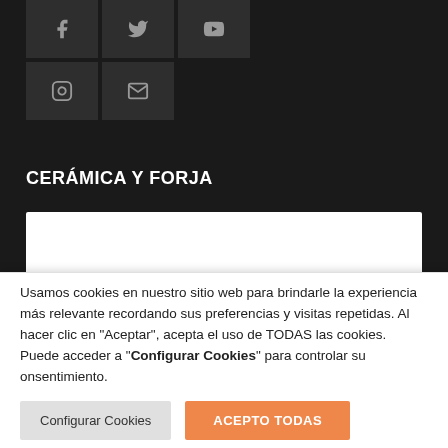[Figure (other): Social media icon buttons (Facebook, Twitter, YouTube) on dark background]
[Figure (other): Social media icon buttons (Instagram, Email/Envelope) on dark background]
CERÁMICA Y FORJA
[Figure (photo): Row of blue and white ceramic tiles with decorative patterns]
Usamos cookies en nuestro sitio web para brindarle la experiencia más relevante recordando sus preferencias y visitas repetidas. Al hacer clic en "Aceptar", acepta el uso de TODAS las cookies. Puede acceder a "Configurar Cookies" para controlar su onsentimiento.
Configurar Cookies | ACEPTO TODAS